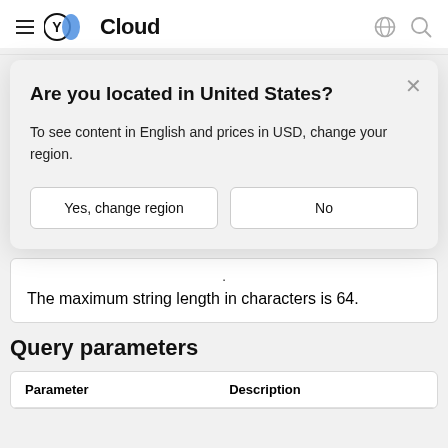Cloud
Path parameters
Are you located in United States?
To see content in English and prices in USD, change your region.
Yes, change region
No
The maximum string length in characters is 64.
Query parameters
| Parameter | Description |
| --- | --- |